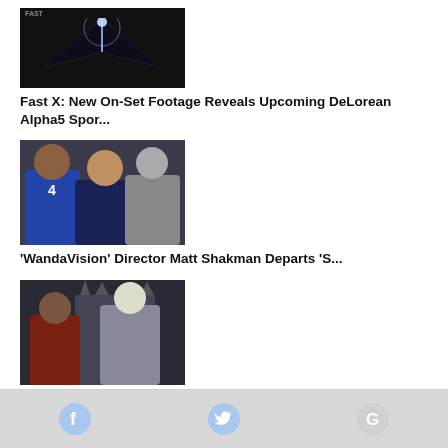[Figure (photo): Fast X movie on-set footage thumbnail showing bright lights and DeLorean Alpha5 sports car]
Fast X: New On-Set Footage Reveals Upcoming DeLorean Alpha5 Spor...
[Figure (photo): Two actors from superhero films - one in blue Fantastic Four costume and another in casual attire]
'WandaVision' Director Matt Shakman Departs 'S...
[Figure (photo): House of the Dragon scene with two characters in medieval fantasy costumes on a throne]
HBO Officially Renewed House of the Dragon for Season 2
Social media links: Facebook, Twitter, Google